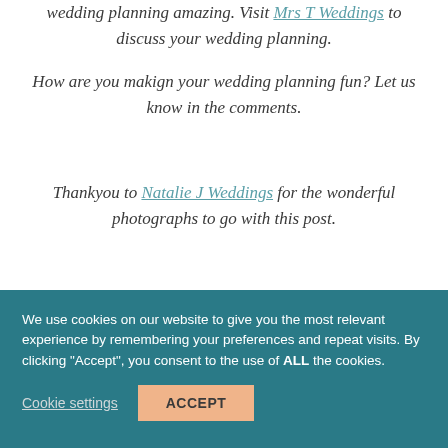wedding planning amazing. Visit Mrs T Weddings to discuss your wedding planning.
How are you makign your wedding planning fun? Let us know in the comments.
Thankyou to Natalie J Weddings for the wonderful photographs to go with this post.
We use cookies on our website to give you the most relevant experience by remembering your preferences and repeat visits. By clicking "Accept", you consent to the use of ALL the cookies.
Cookie settings
ACCEPT